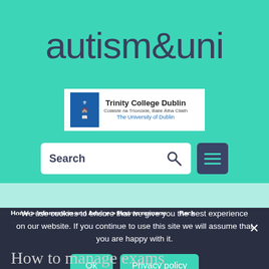[Figure (logo): autism&uni website logo in large teal-background typography with Trinity College Dublin logo below]
[Figure (screenshot): Search bar with 'Search' placeholder and magnifying glass icon, plus hamburger menu button]
Home > Information and Advice > How to manage ... Back exams
We use cookies to ensure that we give you the best experience on our website. If you continue to use this site we will assume that you are happy with it.
Ok
Privacy policy
How to manage exams